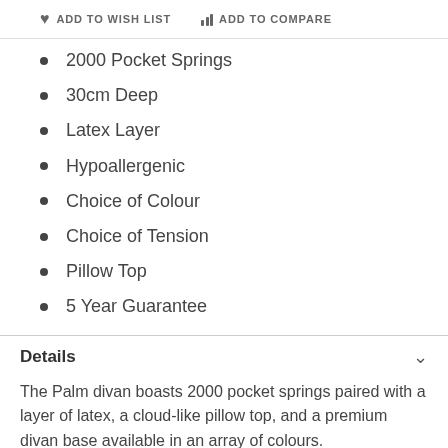ADD TO WISH LIST   ADD TO COMPARE
2000 Pocket Springs
30cm Deep
Latex Layer
Hypoallergenic
Choice of Colour
Choice of Tension
Pillow Top
5 Year Guarantee
Details
The Palm divan boasts 2000 pocket springs paired with a layer of latex, a cloud-like pillow top, and a premium divan base available in an array of colours.